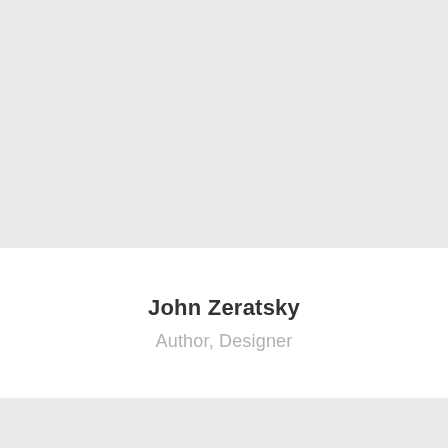[Figure (photo): Gray placeholder image area at top of profile card]
John Zeratsky
Author, Designer
[Figure (other): Gray area at bottom of profile card]